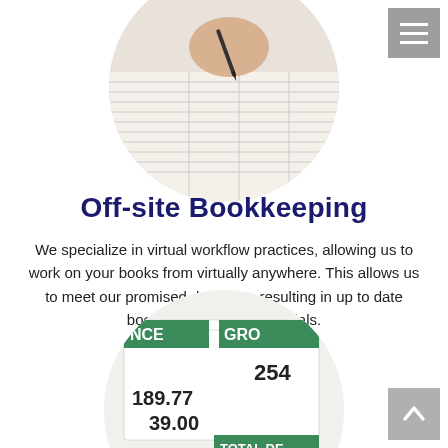[Figure (photo): Circular cropped photo of a hand writing in a ledger/notebook with a pen, seen from above on a light background]
[Figure (screenshot): Hamburger menu icon (three horizontal white lines) on a grey square button in the top-right corner]
Off-site Bookkeeping
We specialize in virtual workflow practices, allowing us to work on your books from virtually anywhere. This allows us to meet our promised deadlines resulting in up to date books and on-time financials.
[Figure (photo): Circular cropped photo of financial documents/receipts showing numbers 254, 189.77, 39.00 with green label strips reading GRO..., NCE, TOTAL DE... and a yellow and black pencil underneath]
[Figure (screenshot): Up arrow icon (white upward chevron/arrow) on a grey square button in the bottom-right corner]